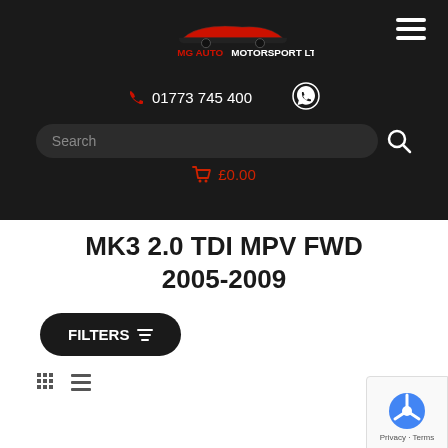[Figure (logo): MG Auto Motorsport Ltd logo with red car silhouette and red/white text on dark background]
[Figure (other): Hamburger menu icon (three horizontal lines) in white on dark background]
01773 745 400
[Figure (other): WhatsApp icon in white]
Search
£0.00
MK3 2.0 TDI MPV FWD 2005-2009
FILTERS
[Figure (other): Grid view and list view toggle icons]
[Figure (other): reCAPTCHA badge with Privacy - Terms]